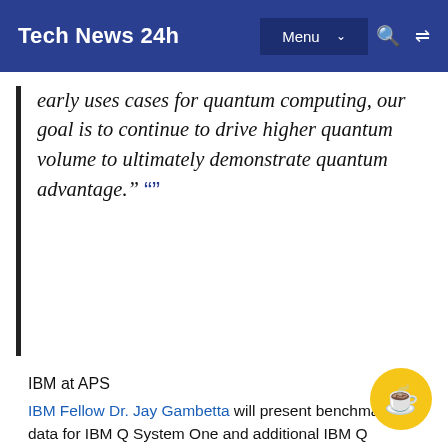Tech News 24h | Menu | [search] [shuffle]
early uses cases for quantum computing, our goal is to continue to drive higher quantum volume to ultimately demonstrate quantum advantage." ””
IBM at APS
IBM Fellow Dr. Jay Gambetta will present benchmarking data for IBM Q System One and additional IBM Q systems, as well as the importance of Quantum Volume in achieving Quantum Advantage in an invited APS talk, Benchmarking NISQ-Era Quantum Processors on Friday, March 8. IBM Q scientist Dr. Lev Bishop will also go into greater depth on these results during his APS March Meeting talk X35.00001 : Software and hardware for improved quantum volume